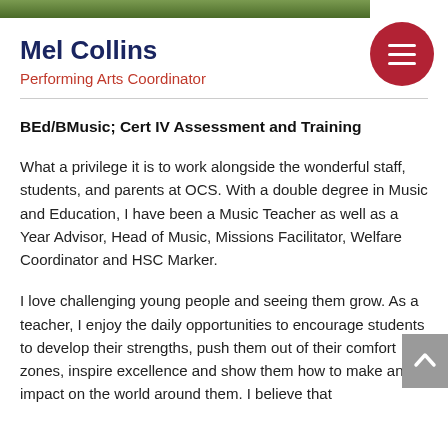[Figure (photo): Photo of Mel Collins, cropped at top, showing a person in a light shirt against a green leafy background]
Mel Collins
Performing Arts Coordinator
BEd/BMusic; Cert IV Assessment and Training
What a privilege it is to work alongside the wonderful staff, students, and parents at OCS. With a double degree in Music and Education, I have been a Music Teacher as well as a Year Advisor, Head of Music, Missions Facilitator, Welfare Coordinator and HSC Marker.
I love challenging young people and seeing them grow. As a teacher, I enjoy the daily opportunities to encourage students to develop their strengths, push them out of their comfort zones, inspire excellence and show them how to make an impact on the world around them. I believe that